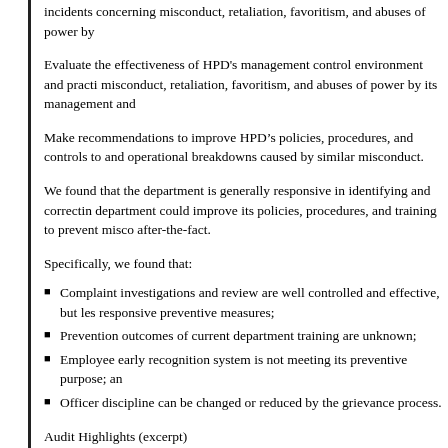incidents concerning misconduct, retaliation, favoritism, and abuses of power by
Evaluate the effectiveness of HPD's management control environment and practices regarding misconduct, retaliation, favoritism, and abuses of power by its management and
Make recommendations to improve HPD's policies, procedures, and controls to prevent and operational breakdowns caused by similar misconduct.
We found that the department is generally responsive in identifying and correcting department could improve its policies, procedures, and training to prevent misconduct after-the-fact.
Specifically, we found that:
Complaint investigations and review are well controlled and effective, but less responsive preventive measures;
Prevention outcomes of current department training are unknown;
Employee early recognition system is not meeting its preventive purpose; and
Officer discipline can be changed or reduced by the grievance process.
Audit Highlights (excerpt)
The Kealoha controversy and other well-publicized incidents of police officer misconduct raised concerns about the police department's ability to identify, respond, correct and prevent police chief could be held accountable for personal and professional misconduct.